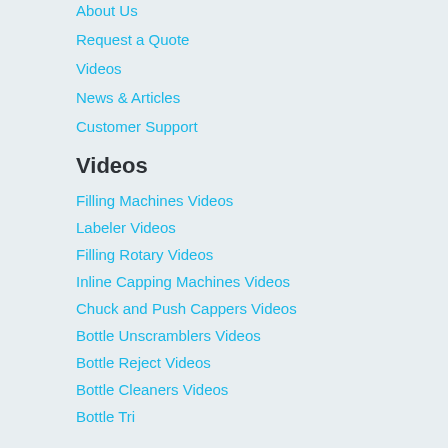About Us
Request a Quote
Videos
News & Articles
Customer Support
Videos
Filling Machines Videos
Labeler Videos
Filling Rotary Videos
Inline Capping Machines Videos
Chuck and Push Cappers Videos
Bottle Unscramblers Videos
Bottle Reject Videos
Bottle Cleaners Videos
Bottle Trimming Videos